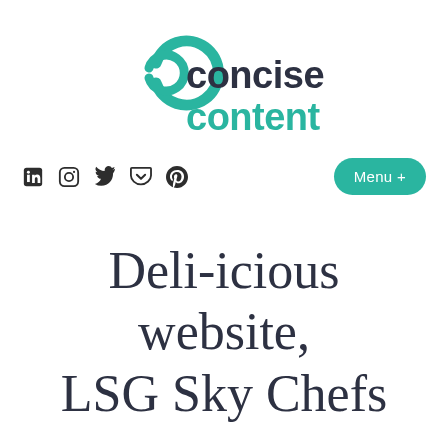[Figure (logo): Concise Content logo with teal circular icon and text 'concise content' in dark and teal colors]
LinkedIn Instagram Twitter Pocket Pinterest  Menu +
Deli-icious website, LSG Sky Chefs